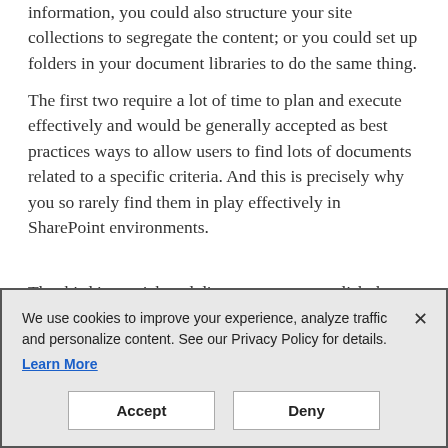information, you could also structure your site collections to segregate the content; or you could set up folders in your document libraries to do the same thing.
The first two require a lot of time to plan and execute effectively and would be generally accepted as best practices ways to allow users to find lots of documents related to a specific criteria. And this is precisely why you so rarely find them in play effectively in SharePoint environments.
The third is a quick and dirty way to accomplish the same thing -- you probably already use it in some degree in SharePoint or your shared drives today.
[Figure (screenshot): Cookie consent banner with text: 'We use cookies to improve your experience, analyze traffic and personalize content. See our Privacy Policy for details.' with a Learn More link, a close (X) button, and Accept and Deny buttons.]